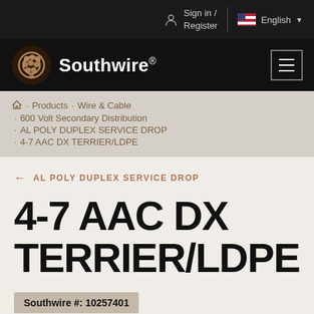Sign in / Register | English
[Figure (logo): Southwire logo with circular decorative emblem and wordmark 'Southwire' in white on black background]
Home · Products · Wire & Cable · 600 Volt Secondary Distribution · AL POLY DUPLEX SERVICE DROP · 4-7 AAC DX TERRIER/LDPE
← AL POLY DUPLEX SERVICE DROP
4-7 AAC DX TERRIER/LDPE
Southwire #: 10257401